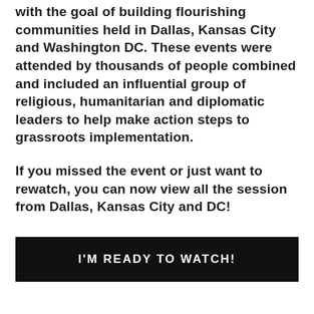with the goal of building flourishing communities held in Dallas, Kansas City and Washington DC. These events were attended by thousands of people combined and included an influential group of religious, humanitarian and diplomatic leaders to help make action steps to grassroots implementation.
If you missed the event or just want to rewatch, you can now view all the session from Dallas, Kansas City and DC!
I'M READY TO WATCH!